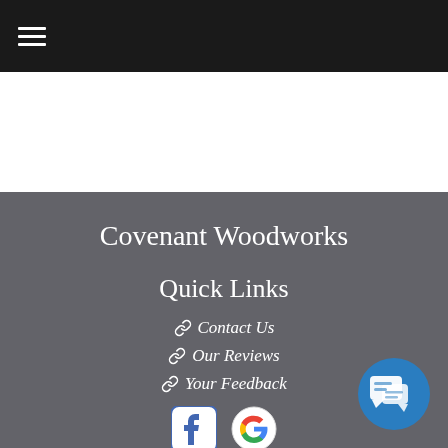≡ (hamburger menu)
Covenant Woodworks
Quick Links
🔗 Contact Us
🔗 Our Reviews
🔗 Your Feedback
[Figure (logo): Facebook and Google social media icons, and a chat widget button]